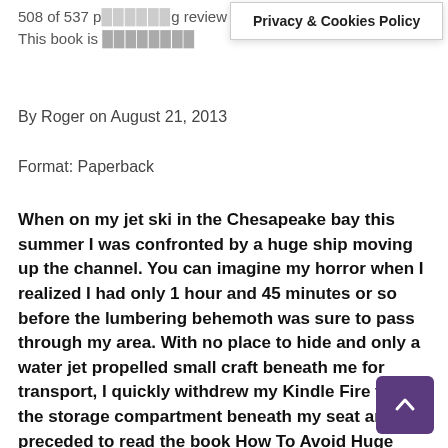508 of 537 p... g review helpful
This book is available
Privacy & Cookies Policy
By Roger on August 21, 2013
Format: Paperback
When on my jet ski in the Chesapeake bay this summer I was confronted by a huge ship moving up the channel. You can imagine my horror when I realized I had only 1 hour and 45 minutes or so before the lumbering behemoth was sure to pass through my area. With no place to hide and only a water jet propelled small craft beneath me for transport, I quickly withdrew my Kindle Fire from the storage compartment beneath my seat and preceded to read the book How To Avoid Huge Ships. One hour later and with only 45 minutes to spare, I implemented th expert advice provided by the author and turned m in the opposite direction of the huge ship to avoid certain